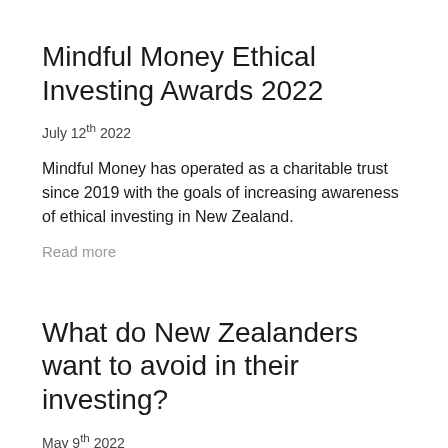Mindful Money Ethical Investing Awards 2022
July 12th 2022
Mindful Money has operated as a charitable trust since 2019 with the goals of increasing awareness of ethical investing in New Zealand.
Read more
What do New Zealanders want to avoid in their investing?
May 9th 2022
Since the last survey, the survey authors have